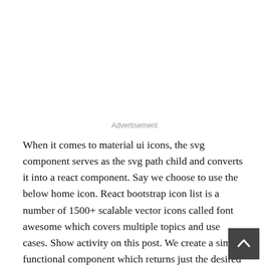Advertisement
When it comes to material ui icons, the svg component serves as the svg path child and converts it into a react component. Say we choose to use the below home icon. React bootstrap icon list is a number of 1500+ scalable vector icons called font awesome which covers multiple topics and use cases. Show activity on this post. We create a simple functional component which returns just the desired icon.
[Figure (other): Back to top button — dark grey square with upward-pointing chevron arrow in white]